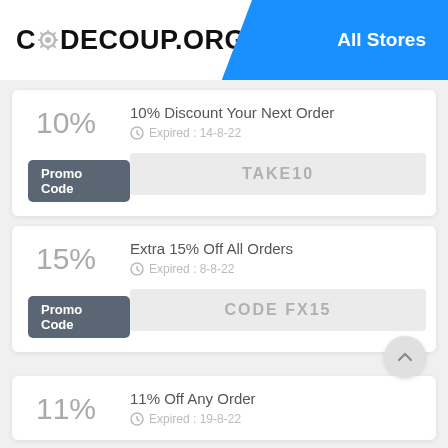CODECOUP.ORG | All Stores
10%
10% Discount Your Next Order
Expired : 14-8-22
Promo Code
TAKE10
15%
Extra 15% Off All Orders
Expired : 8-8-22
Promo Code
CODE FX15
11%
11% Off Any Order
Expired : 19-8-22